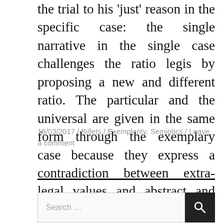the trial to his 'just' reason in the specific case: the single narrative in the single case challenges the ratio legis by proposing a new and different ratio. The particular and the universal are given in the same form through the exemplary case because they express a contradiction between extra-legal values and abstract and general rules.
18/03/2017 / Billets / Exemplarity, Semiotics / Leave a comment
[Figure (other): Horizontal black divider line separating content from search area]
[Figure (other): Search bar with text 'Search ...' and a dark search button with magnifying glass icon]